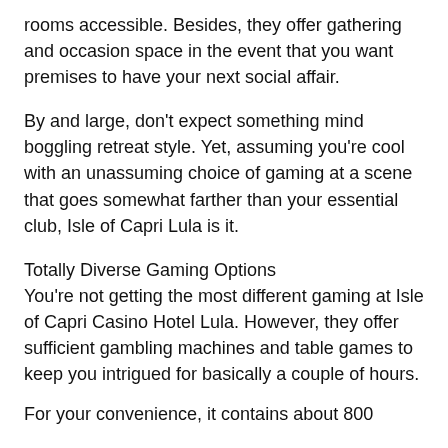rooms accessible. Besides, they offer gathering and occasion space in the event that you want premises to have your next social affair.
By and large, don't expect something mind boggling retreat style. Yet, assuming you're cool with an unassuming choice of gaming at a scene that goes somewhat farther than your essential club, Isle of Capri Lula is it.
Totally Diverse Gaming Options
You're not getting the most different gaming at Isle of Capri Casino Hotel Lula. However, they offer sufficient gambling machines and table games to keep you intrigued for basically a couple of hours.
For your convenience, it contains about 800...